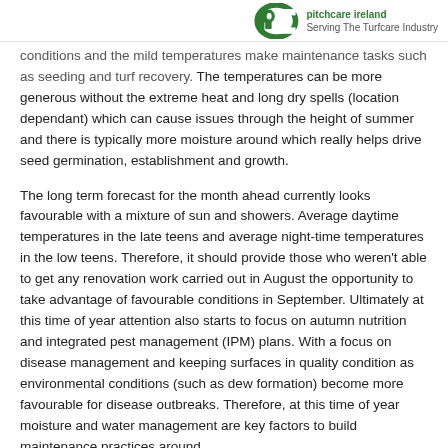Pitchcare Ireland – Serving The Turfcare Industry
conditions and the mild temperatures make maintenance tasks such as seeding and turf recovery. The temperatures can be more generous without the extreme heat and long dry spells (location dependant) which can cause issues through the height of summer and there is typically more moisture around which really helps drive seed germination, establishment and growth.
The long term forecast for the month ahead currently looks favourable with a mixture of sun and showers. Average daytime temperatures in the late teens and average night-time temperatures in the low teens. Therefore, it should provide those who weren't able to get any renovation work carried out in August the opportunity to take advantage of favourable conditions in September. Ultimately at this time of year attention also starts to focus on autumn nutrition and integrated pest management (IPM) plans. With a focus on disease management and keeping surfaces in quality condition as environmental conditions (such as dew formation) become more favourable for disease outbreaks. Therefore, at this time of year moisture and water management are key factors to build maintenance practices around.
When undertaking renovation activities that incorporate seeding, good contact with the soil will ensure the seed can utilise any moisture and use the favourable ground temperatures to establish. Applications of